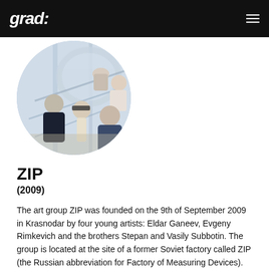grad:
[Figure (photo): Circular cropped photo of four young men (art group ZIP members) posing on what appears to be an industrial staircase or structure with metal railings, photographed from a low angle.]
ZIP
(2009)
The art group ZIP was founded on the 9th of September 2009 in Krasnodar by four young artists: Eldar Ganeev, Evgeny Rimkevich and the brothers Stepan and Vasily Subbotin. The group is located at the site of a former Soviet factory called ZIP (the Russian abbreviation for Factory of Measuring Devices). In their own words, it all began in the late summer of 2009. We were bored in